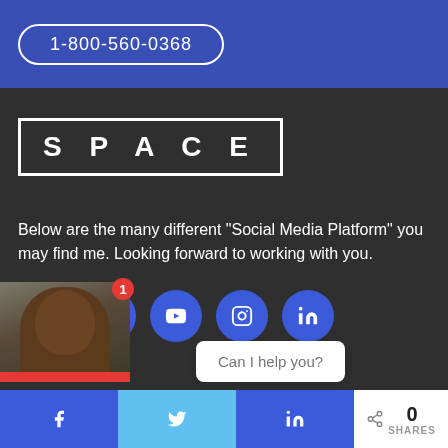1-800-560-0368
[Figure (logo): SPACE logo in white text with white border box on dark background]
Below are the many different “Social Media Platform” you may find me. Looking forward to working with you.
[Figure (infographic): Row of 5 blue circular social media icons: Facebook, Twitter, YouTube, Instagram, LinkedIn]
[Figure (photo): Profile photo of a man, with notification badge showing number 1]
Can I help you?
0
SHARES